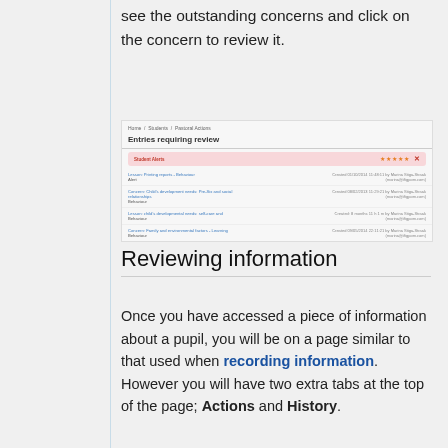see the outstanding concerns and click on the concern to review it.
[Figure (screenshot): Screenshot of 'Entries requiring review' page showing a list of entries with alert bar, star rating icons, and multiple entry rows with creation details.]
Reviewing information
Once you have accessed a piece of information about a pupil, you will be on a page similar to that used when recording information. However you will have two extra tabs at the top of the page; Actions and History.